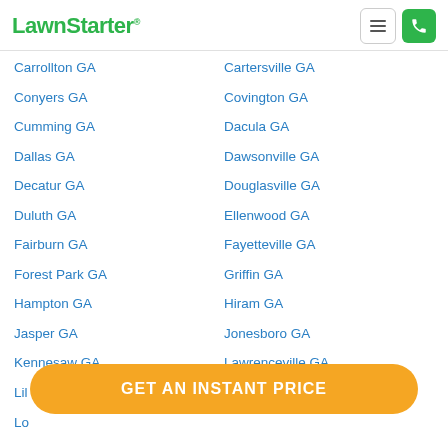LawnStarter
Carrollton GA
Cartersville GA
Conyers GA
Covington GA
Cumming GA
Dacula GA
Dallas GA
Dawsonville GA
Decatur GA
Douglasville GA
Duluth GA
Ellenwood GA
Fairburn GA
Fayetteville GA
Forest Park GA
Griffin GA
Hampton GA
Hiram GA
Jasper GA
Jonesboro GA
Kennesaw GA
Lawrenceville GA
Lil...
Lo...
Marietta GA
McDonough GA